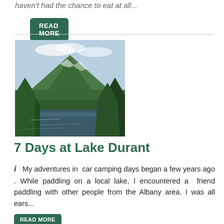haven't had the chance to eat at all...
READ MORE
[Figure (photo): A landscape photo showing a green mountain with some patches of white/snow, dense tree coverage on the slopes, and a dark lake or river in the foreground with trees framing the sides.]
7 Days at Lake Durant
My adventures in car camping days began a few years ago . While paddling on a local lake, I encountered a friend paddling with other people from the Albany area. I was all ears...